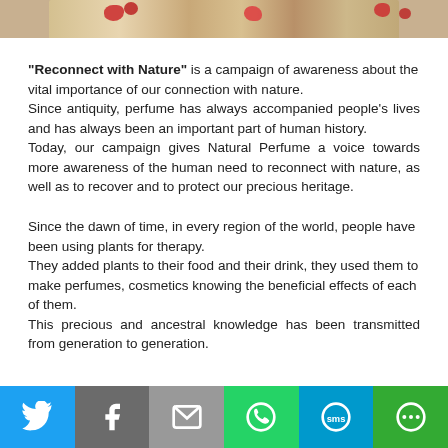[Figure (photo): Decorative image strip at top showing floral/nature pattern with red flowers on a beige/tan background]
"Reconnect with Nature" is a campaign of awareness about the vital importance of our connection with nature. Since antiquity, perfume has always accompanied people's lives and has always been an important part of human history. Today, our campaign gives Natural Perfume a voice towards more awareness of the human need to reconnect with nature, as well as to recover and to protect our precious heritage.
Since the dawn of time, in every region of the world, people have been using plants for therapy. They added plants to their food and their drink, they used them to make perfumes, cosmetics knowing the beneficial effects of each of them. This precious and ancestral knowledge has been transmitted from generation to generation.
[Figure (infographic): Social sharing bar with Twitter (blue), Facebook (gray), Email (gray), WhatsApp (green), SMS (blue), and More (green) buttons with white icons]